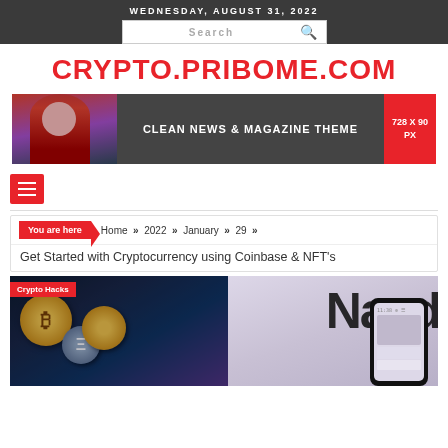WEDNESDAY, AUGUST 31, 2022
CRYPTO.PRIBOME.COM
[Figure (photo): Banner advertisement showing a woman with red headscarf, dark background with text 'CLEAN NEWS & MAGAZINE THEME' and red box '728 X 90 PX']
[Figure (screenshot): Hamburger menu icon (three horizontal lines) on red background]
You are here  Home » 2022 » January » 29 »
Get Started with Cryptocurrency using Coinbase & NFT's
[Figure (photo): Left image: cryptocurrency coins including Bitcoin and other altcoins with 'Crypto Hacks' label. Right image: Nasdaq sign partially visible with a smartphone in foreground.]